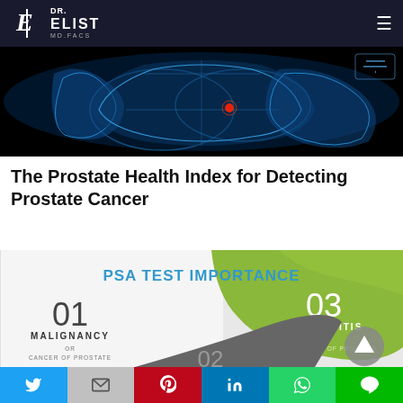Dr. Elist MD.FACS
[Figure (photo): Blue X-ray style medical illustration of prostate area on black background with a red dot indicating tumor location]
The Prostate Health Index for Detecting Prostate Cancer
[Figure (infographic): PSA Test Importance infographic showing: 01 MALIGNANCY OR CANCER OF PROSTATE (gray/white panel), 03 PROSTATITIS OR INFLAMMATION OF PROSTATE (green panel), 02 (partially visible dark panel). Arrow-up button visible bottom right.]
Social share bar: Twitter, Gmail, Pinterest, LinkedIn, WhatsApp, Line